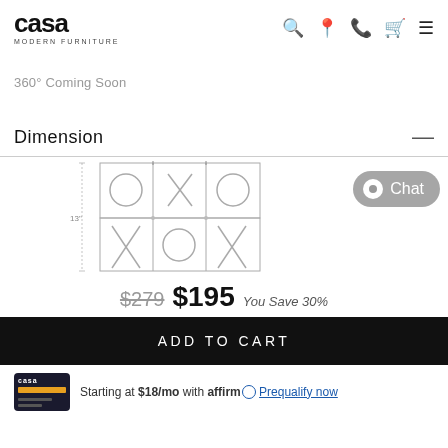casa MODERN FURNITURE
360° Coming Soon
Dimension
[Figure (engineering-diagram): Technical dimension diagram of a furniture piece showing grid pattern with O and X symbols, labeled 13"]
$279 $195 You Save 30%
ADD TO CART
Starting at $18/mo with affirm. Prequalify now